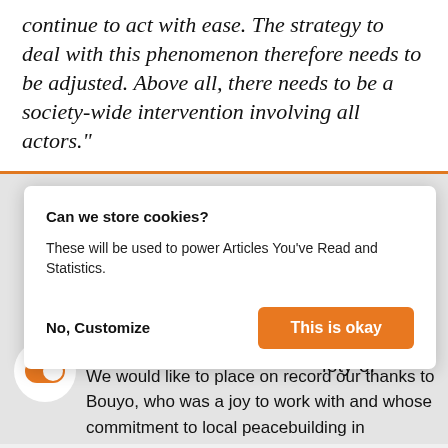continue to act with ease. The strategy to deal with this phenomenon therefore needs to be adjusted. Above all, there needs to be a society-wide intervention involving all actors."
[Figure (screenshot): Cookie consent dialog with title 'Can we store cookies?', body text 'These will be used to power Articles You've Read and Statistics.', 'No, Customize' button and orange 'This is okay' button. Partially overlays article text.]
conflict prevention and peacebuilding projects. We would like to place on record our thanks to Bouyo, who was a joy to work with and whose commitment to local peacebuilding in